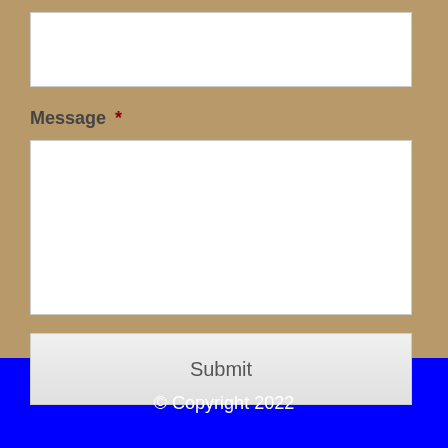[Figure (screenshot): A web form input field (text box) at the top of a tan/beige background area]
Message *
[Figure (screenshot): A web form textarea (large text input box) for message entry]
[Figure (screenshot): A Submit button with light gray gradient background]
© Copyright 2022